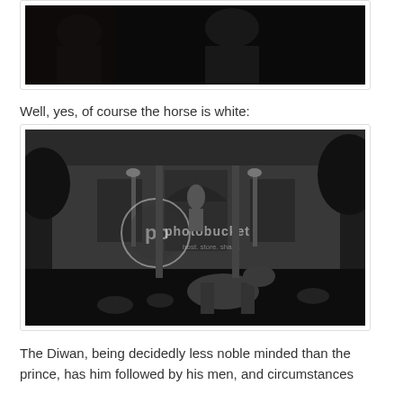[Figure (screenshot): Black and white film still showing two figures, with subtitle text: Look at yourself "carefully, Diwan!"]
Well, yes, of course the horse is white:
[Figure (photo): Black and white photograph of an ornate building facade with arched windows and lamp posts, crowd scene below with a white horse visible, Photobucket watermark overlay reading 'photobucket host. store. share.']
The Diwan, being decidedly less noble minded than the prince, has him followed by his men, and circumstances